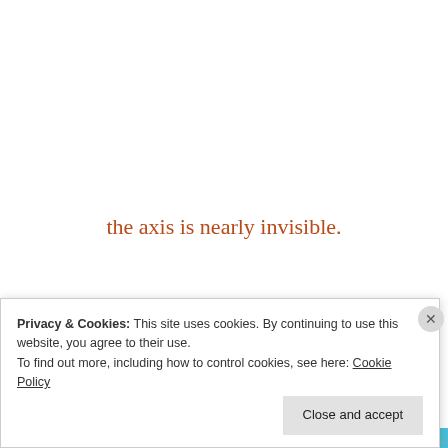the axis is nearly invisible.
~
I can only feel it...
Imagining
this bright nucleus of love
Privacy & Cookies: This site uses cookies. By continuing to use this website, you agree to their use.
To find out more, including how to control cookies, see here: Cookie Policy
Close and accept